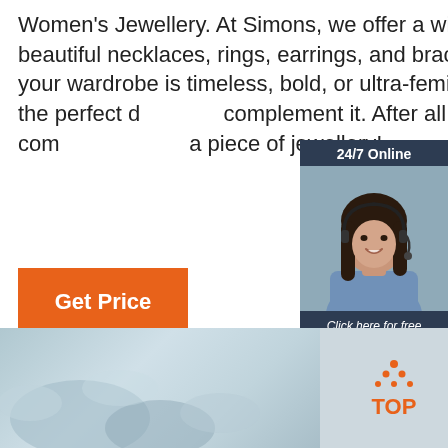Women's Jewellery. At Simons, we offer a wide selection of beautiful necklaces, rings, earrings, and bracelets. Whether your wardrobe is timeless, bold, or ultra-feminine, you'll find the perfect d... complement it. After all, no outfit is com... a piece of jewellery!
[Figure (other): Customer service widget showing a woman with headset, '24/7 Online' header, 'Click here for free chat!' text, and orange QUOTATION button]
Get Price
[Figure (photo): Bottom banner with blurred blue-gray background and orange TOP logo icon in bottom right]